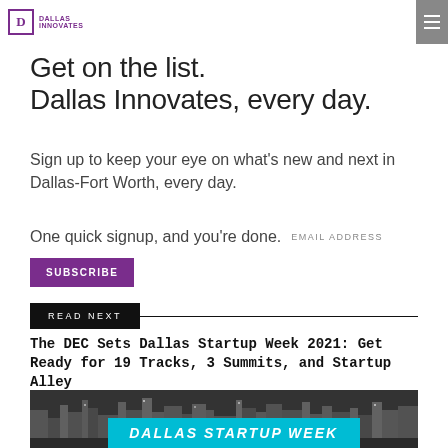Dallas Innovates
Get on the list.
Dallas Innovates, every day.
Sign up to keep your eye on what's new and next in Dallas-Fort Worth, every day.
One quick signup, and you're done.  EMAIL ADDRESS
SUBSCRIBE
READ NEXT
The DEC Sets Dallas Startup Week 2021: Get Ready for 19 Tracks, 3 Summits, and Startup Alley
[Figure (photo): Black and white Dallas skyline with a cyan/turquoise banner reading DALLAS STARTUP WEEK]